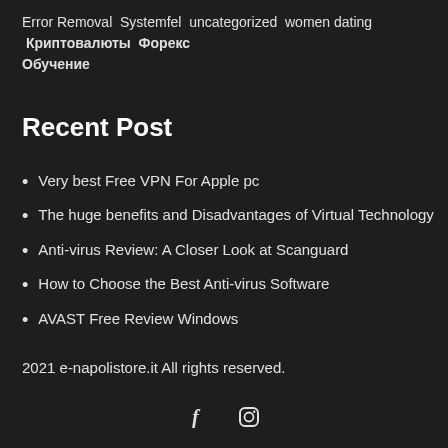Error Removal Systemfel uncategorized women dating Криптовалюты Форекс Обучение
Recent Post
Very best Free VPN For Apple pc
The huge benefits and Disadvantages of Virtual Technology
Anti-virus Review: A Closer Look at Scanguard
How to Choose the Best Anti-virus Software
AVAST Free Review Windows
2021 e-napolistore.it All rights reserved.